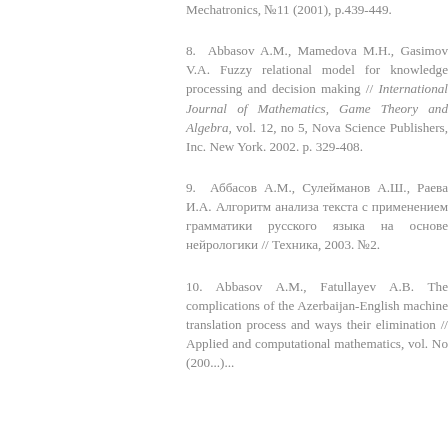Mechatronics, №11 (2001), p.439-449.
8.  Abbasov A.M., Mamedova M.H., Gasimov V.A. Fuzzy relational model for knowledge processing and decision making // International Journal of Mathematics, Game Theory and Algebra, vol. 12, no 5, Nova Science Publishers, Inc. New York. 2002. p. 329-408.
9.  Аббасов А.М., Сулейманов А.Ш., Раева И.А. Алгоритм анализа текста с применением грамматики русского языка на основе нейрологики // Техника, 2003. №2.
10. Abbasov A.M., Fatullayev A.B. The complications of the Azerbaijan-English machine translation process and ways their elimination // Applied and computational mathematics, vol. No (200...)...